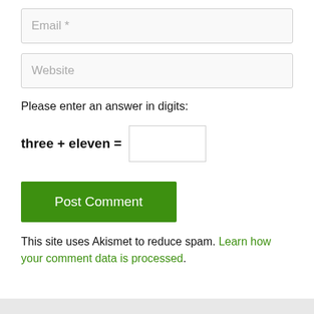Email *
Website
Please enter an answer in digits:
Post Comment
This site uses Akismet to reduce spam. Learn how your comment data is processed.